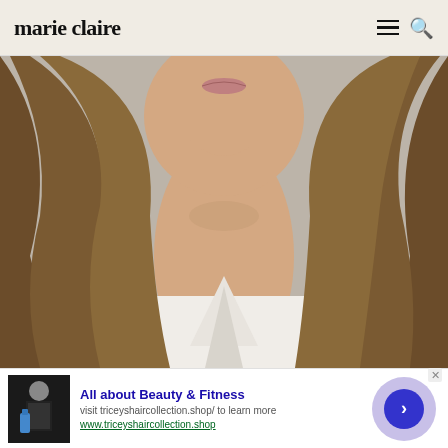marie claire
[Figure (photo): Close-up photo of a woman with long, wavy brown hair wearing a white blouse. Her face is partially visible showing her lips and neck. Background is blurred grey/white.]
[Figure (photo): Advertisement thumbnail showing a woman in black dress holding a blue bottle]
All about Beauty & Fitness
visit triceyshaircollection.shop/ to learn more
www.triceyshaircollection.shop